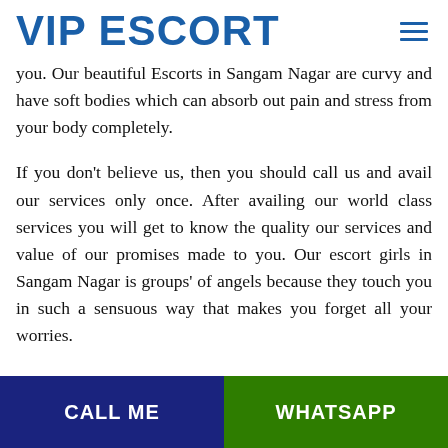VIP ESCORT
you. Our beautiful Escorts in Sangam Nagar are curvy and have soft bodies which can absorb out pain and stress from your body completely.
If you don't believe us, then you should call us and avail our services only once. After availing our world class services you will get to know the quality our services and value of our promises made to you. Our escort girls in Sangam Nagar is groups' of angels because they touch you in such a sensuous way that makes you forget all your worries.
CALL ME   WHATSAPP